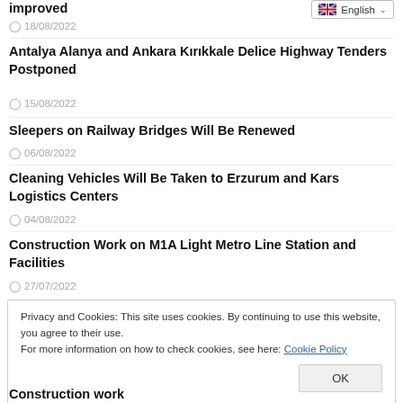improved
18/08/2022
Antalya Alanya and Ankara Kırıkkale Delice Highway Tenders Postponed
15/08/2022
Sleepers on Railway Bridges Will Be Renewed
06/08/2022
Cleaning Vehicles Will Be Taken to Erzurum and Kars Logistics Centers
04/08/2022
Construction Work on M1A Light Metro Line Station and Facilities
27/07/2022
Privacy and Cookies: This site uses cookies. By continuing to use this website, you agree to their use. For more information on how to check cookies, see here: Cookie Policy
Construction work